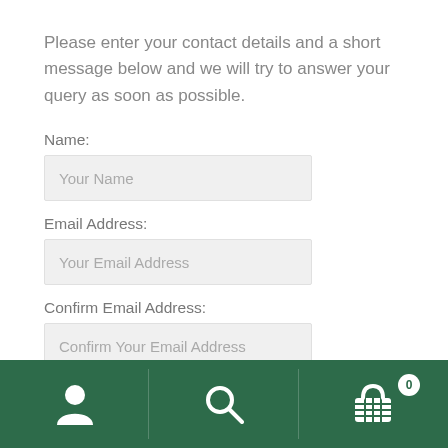Please enter your contact details and a short message below and we will try to answer your query as soon as possible.
Name:
Your Name
Email Address:
Your Email Address
Confirm Email Address:
Confirm Your Email Address
[Figure (other): Bottom navigation bar with dark green background containing three icons: a user/person icon on the left, a search/magnifying glass icon in the center, and a shopping basket icon with a badge showing '0' on the right.]